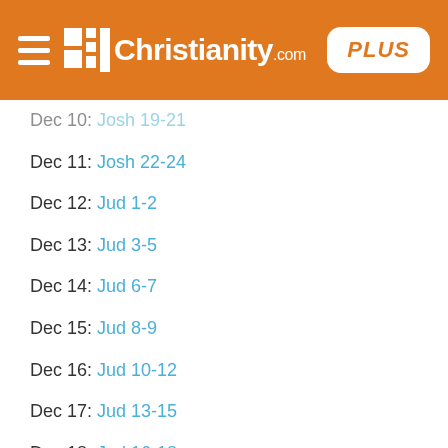Christianity.com PLUS
Dec 10: Josh 19-21
Dec 11: Josh 22-24
Dec 12: Jud 1-2
Dec 13: Jud 3-5
Dec 14: Jud 6-7
Dec 15: Jud 8-9
Dec 16: Jud 10-12
Dec 17: Jud 13-15
Dec 18: Jud 16-18
Dec 19: Jud 19-21
Dec 20: Ruth
Dec 21: 1Sam 1-3
Dec 22: 1Sam 4-8